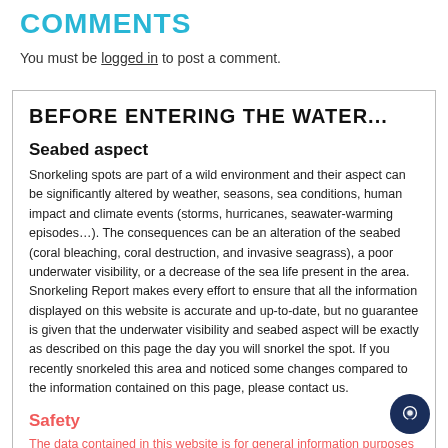COMMENTS
You must be logged in to post a comment.
BEFORE ENTERING THE WATER...
Seabed aspect
Snorkeling spots are part of a wild environment and their aspect can be significantly altered by weather, seasons, sea conditions, human impact and climate events (storms, hurricanes, seawater-warming episodes…). The consequences can be an alteration of the seabed (coral bleaching, coral destruction, and invasive seagrass), a poor underwater visibility, or a decrease of the sea life present in the area. Snorkeling Report makes every effort to ensure that all the information displayed on this website is accurate and up-to-date, but no guarantee is given that the underwater visibility and seabed aspect will be exactly as described on this page the day you will snorkel the spot. If you recently snorkeled this area and noticed some changes compared to the information contained on this page, please contact us.
Safety
The data contained in this website is for general information purposes